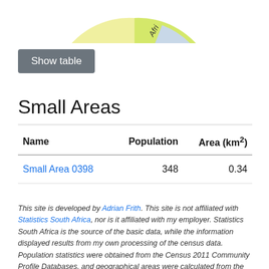[Figure (pie-chart): Partial view of a pie chart showing segments labeled 'Afri...' and 'ana' (truncated), with pastel colored slices in yellow-green, teal, and other colors.]
Show table
Small Areas
| Name | Population | Area (km²) |
| --- | --- | --- |
| Small Area 0398 | 348 | 0.34 |
This site is developed by Adrian Frith. This site is not affiliated with Statistics South Africa, nor is it affiliated with my employer. Statistics South Africa is the source of the basic data, while the information displayed results from my own processing of the census data. Population statistics were obtained from the Census 2011 Community Profile Databases, and geographical areas were calculated from the Census 2011 GIS DVD.